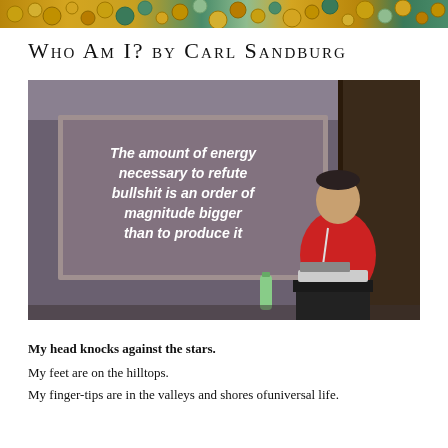[Figure (photo): Decorative top banner image showing coins/mosaic pattern]
Who Am I? by Carl Sandburg
[Figure (photo): Photo of a man in a red t-shirt presenting at a conference, with a projection screen showing the text: 'The amount of energy necessary to refute bullshit is an order of magnitude bigger than to produce it']
My head knocks against the stars.
My feet are on the hilltops.
My finger-tips are in the valleys and shores ofuniversal life.